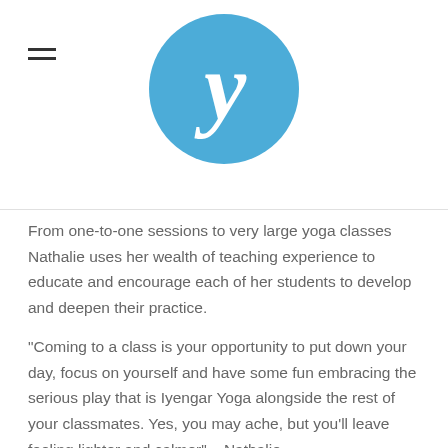Yoga website header with hamburger menu and logo
[Figure (logo): Blue circle with white cursive lowercase letter y — yoga website logo]
From one-to-one sessions to very large yoga classes Nathalie uses her wealth of teaching experience to educate and encourage each of her students to develop and deepen their practice.
“Coming to a class is your opportunity to put down your day, focus on yourself and have some fun embracing the serious play that is Iyengar Yoga alongside the rest of your classmates. Yes, you may ache, but you’ll leave feeling lighter and calmer” – Nathalie
Nathalie regularly studies at the Iyengar Yoga Institute in Pune (India), and attends workshops and conventions with leading teachers of Iyengar Yoga. She holds a Level 3